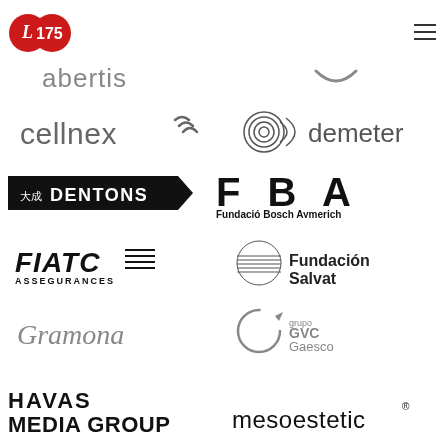[Figure (logo): Red circular logo with 'L 175' text in white, representing an anniversary or institution logo]
[Figure (logo): Abertis company logo in grey lowercase lettering]
[Figure (logo): Grey wave/smile icon logo]
[Figure (logo): Cellnex logo in grey lowercase with signal waves]
[Figure (logo): Demeter logo with concentric circles icon and text]
[Figure (logo): Dentons law firm logo in black with Chinese characters and arrow]
[Figure (logo): Fundació Bosch Aymerich logo with F B A letters]
[Figure (logo): FIATC Assegurances logo in black bold letters]
[Figure (logo): Fundación Salvat logo with horizontal lines globe icon]
[Figure (logo): Gramona script logo in grey]
[Figure (logo): Grupo GVC Gaesco logo with circular arrow icon]
[Figure (logo): Havas Media Group logo in bold black]
[Figure (logo): mesoestetic logo in lowercase black with registered mark]